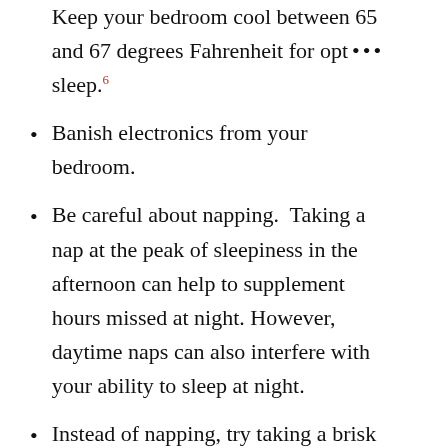Keep your bedroom cool between 65 and 67 degrees Fahrenheit for opt … sleep.⁶
Banish electronics from your bedroom.
Be careful about napping. Taking a nap at the peak of sleepiness in the afternoon can help to supplement hours missed at night. However, daytime naps can also interfere with your ability to sleep at night.
Instead of napping, try taking a brisk